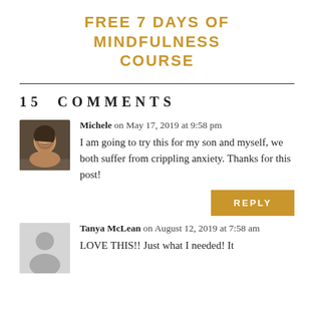FREE 7 DAYS OF MINDFULNESS COURSE
15 COMMENTS
Michele on May 17, 2019 at 9:58 pm
I am going to try this for my son and myself, we both suffer from crippling anxiety. Thanks for this post!
REPLY
Tanya McLean on August 12, 2019 at 7:58 am
LOVE THIS!! Just what I needed! It